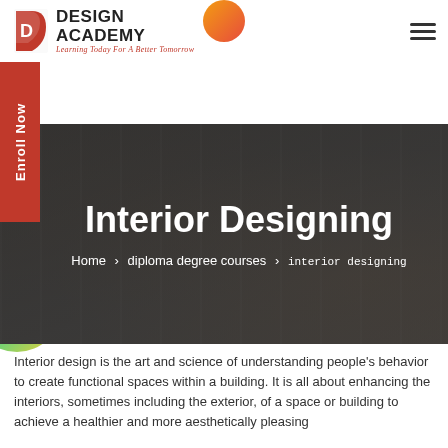Design Academy — Learning Today For A Better Tomorrow
[Figure (screenshot): Interior designing course hero banner with dark overlay, showing hands working on architectural drawings. Text: Interior Designing. Breadcrumb: Home > diploma degree courses > interior designing. Red Enroll Now button on left side.]
Interior Designing
Home > diploma degree courses > interior designing
Interior Design
Interior design is the art and science of understanding people's behavior to create functional spaces within a building. It is all about enhancing the interiors, sometimes including the exterior, of a space or building to achieve a healthier and more aesthetically pleasing